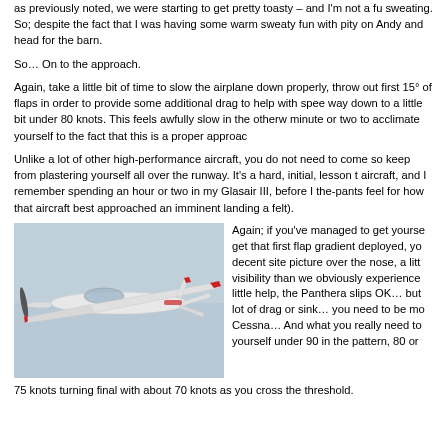as previously noted, we were starting to get pretty toasty – and I'm not a fu sweating. So; despite the fact that I was having some warm sweaty fun with pity on Andy and head for the barn.
So… On to the approach.
Again, take a little bit of time to slow the airplane down properly, throw out first 15° of flaps in order to provide some additional drag to help with spee way down to a little bit under 80 knots. This feels awfully slow in the otherw minute or two to acclimate yourself to the fact that this is a proper approac
Unlike a lot of other high-performance aircraft, you do not need to come so keep from plastering yourself all over the runway. It's a hard, initial, lesson t aircraft, and I remember spending an hour or two in my Glasair III, before I the-pants feel for how that aircraft best approached an imminent landing a felt).
[Figure (photo): A white low-wing aircraft (Panthera) in flight against a grey sky background, viewed from the side-slightly below angle, showing propeller, wings with red accents on wingtips.]
Again; if you've managed to get yourse get that first flap gradient deployed, yo decent site picture over the nose, a litt visibility than we obviously experience little help, the Panthera slips OK… but lot of drag or sink… you need to be mo Cessna… And what you really need to yourself under 90 in the pattern, 80 or
75 knots turning final with about 70 knots as you cross the threshold.